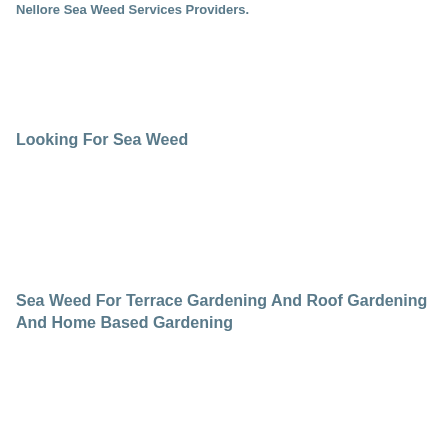Nellore Sea Weed Services Providers.
Looking For Sea Weed
Sea Weed For Terrace Gardening And Roof Gardening And Home Based Gardening